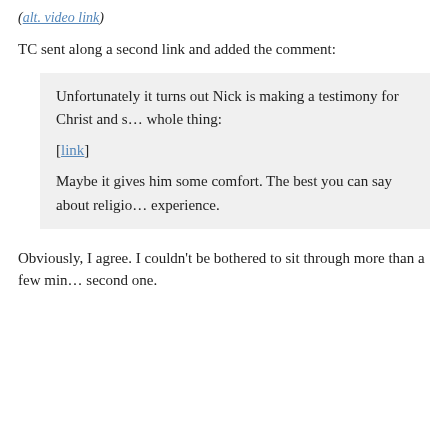(alt. video link)
TC sent along a second link and added the comment:
Unfortunately it turns out Nick is making a testimony for Christ and s… whole thing:

[link]

Maybe it gives him some comfort. The best you can say about religio… experience.
Obviously, I agree. I couldn't be bothered to sit through more than a few min… second one.